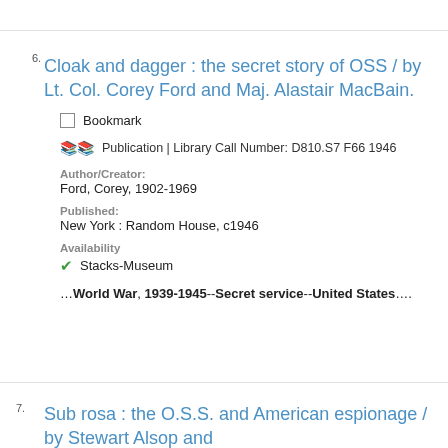Cloak and dagger : the secret story of OSS / by Lt. Col. Corey Ford and Maj. Alastair MacBain.
Bookmark
Publication | Library Call Number: D810.S7 F66 1946
Author/Creator:
Ford, Corey, 1902-1969
Published:
New York : Random House, c1946
Availability
Stacks-Museum
…World War, 1939-1945--Secret service--United States….
Sub rosa : the O.S.S. and American espionage / by Stewart Alsop and